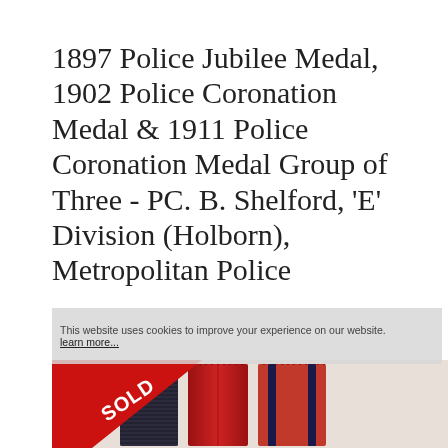1897 Police Jubilee Medal, 1902 Police Coronation Medal & 1911 Police Coronation Medal Group of Three - PC. B. Shelford, 'E' Division (Holborn), Metropolitan Police
This website uses cookies to improve your experience on our website. learn more...
[Figure (photo): Photo of three police medal ribbons. Left: black ribbed ribbon. Center: red and crimson striped ribbon. Right: red ribbon with two dark navy vertical stripes. A red triangular 'SOLD' banner overlays the upper-left corner of the image.]